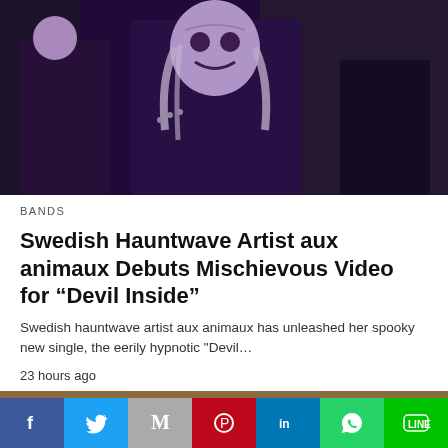[Figure (photo): Dark photo of band members in leather jackets wearing scary white masks, outdoor setting with dark background]
BANDS
Swedish Hauntwave Artist aux animaux Debuts Mischievous Video for “Devil Inside”
Swedish hauntwave artist aux animaux has unleashed her spooky new single, the eerily hypnotic "Devil…
23 hours ago
[Figure (photo): Partial image with text overlaid: ARE SUBJECT TO, OR SHARP OBJECTS O_, THEM., MEMBRANES DURI_]
Facebook | Twitter | Mail | Pinterest | LinkedIn | WhatsApp | Line